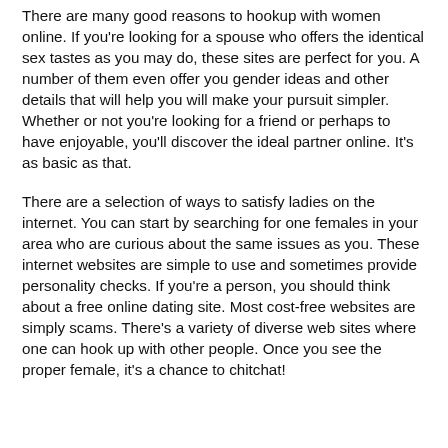There are many good reasons to hookup with women online. If you're looking for a spouse who offers the identical sex tastes as you may do, these sites are perfect for you. A number of them even offer you gender ideas and other details that will help you will make your pursuit simpler. Whether or not you're looking for a friend or perhaps to have enjoyable, you'll discover the ideal partner online. It's as basic as that.
There are a selection of ways to satisfy ladies on the internet. You can start by searching for one females in your area who are curious about the same issues as you. These internet websites are simple to use and sometimes provide personality checks. If you're a person, you should think about a free online dating site. Most cost-free websites are simply scams. There's a variety of diverse web sites where one can hook up with other people. Once you see the proper female, it's a chance to chitchat!